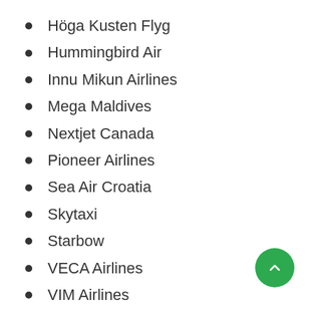Höga Kusten Flyg
Hummingbird Air
Innu Mikun Airlines
Mega Maldives
Nextjet Canada
Pioneer Airlines
Sea Air Croatia
Skytaxi
Starbow
VECA Airlines
VIM Airlines
Yute Air